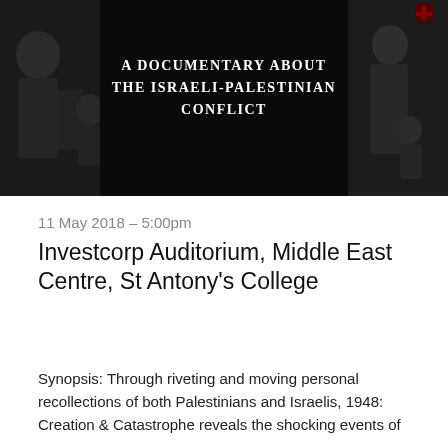[Figure (photo): Black and white documentary film banner showing figures/people (refugees) in historical photo, with centered white text overlay reading 'A DOCUMENTARY ABOUT THE ISRAELI-PALESTINIAN CONFLICT']
11 May 2018 – 5:00pm
Investcorp Auditorium, Middle East Centre, St Antony's College
Synopsis: Through riveting and moving personal recollections of both Palestinians and Israelis, 1948: Creation & Catastrophe reveals the shocking events of